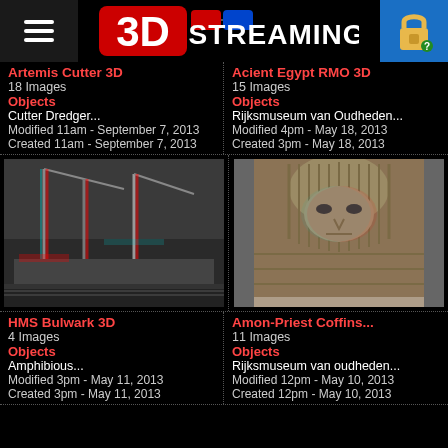3D STREAMING
Artemis Cutter 3D
18 Images
Objects
Cutter Dredger...
Modified 11am - September 7, 2013
Created 11am - September 7, 2013
Acient Egypt RMO 3D
15 Images
Objects
Rijksmuseum van Oudheden...
Modified 4pm - May 18, 2013
Created 3pm - May 18, 2013
[Figure (photo): 3D anaglyph image of HMS Bulwark ship/dredger]
[Figure (photo): 3D anaglyph image of Amon-Priest Coffins artifact]
HMS Bulwark 3D
4 Images
Objects
Amphibious...
Modified 3pm - May 11, 2013
Created 3pm - May 11, 2013
Amon-Priest Coffins...
11 Images
Objects
Rijksmuseum van oudheden...
Modified 12pm - May 10, 2013
Created 12pm - May 10, 2013